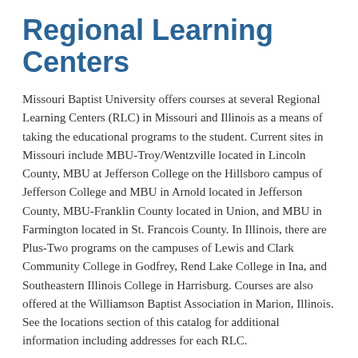Regional Learning Centers
Missouri Baptist University offers courses at several Regional Learning Centers (RLC) in Missouri and Illinois as a means of taking the educational programs to the student. Current sites in Missouri include MBU-Troy/Wentzville located in Lincoln County, MBU at Jefferson College on the Hillsboro campus of Jefferson College and MBU in Arnold located in Jefferson County, MBU-Franklin County located in Union, and MBU in Farmington located in St. Francois County. In Illinois, there are Plus-Two programs on the campuses of Lewis and Clark Community College in Godfrey, Rend Lake College in Ina, and Southeastern Illinois College in Harrisburg. Courses are also offered at the Williamson Baptist Association in Marion, Illinois. See the locations section of this catalog for additional information including addresses for each RLC.
Academic advisement for undergraduate students at the RLCs is directed by the dean or coordinator of each center. All registration materials, including advisement worksheets and